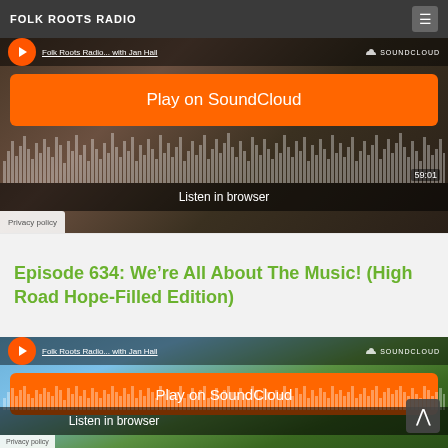FOLK ROOTS RADIO
[Figure (screenshot): SoundCloud embedded player for Folk Roots Radio with Jan Hall, showing orange Play on SoundCloud button, Listen in browser bar, waveform, and 59:01 duration]
Episode 634: We’re All About The Music! (High Road Hope-Filled Edition)
[Figure (screenshot): Second SoundCloud embedded player for Folk Roots Radio with Jan Hall, showing orange Play on SoundCloud button, Listen in browser bar, and landscape background]